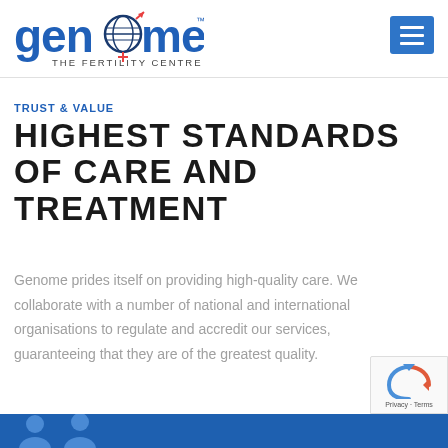[Figure (logo): Genome The Fertility Centre logo — stylized text 'genome' in blue with a globe and gender symbols, subtitle 'THE FERTILITY CENTRE']
[Figure (other): Blue hamburger menu button (three white horizontal lines) in top-right corner]
TRUST & VALUE
HIGHEST STANDARDS OF CARE AND TREATMENT
Genome prides itself on providing high-quality care. We collaborate with a number of national and international organisations to regulate and accredit our services, guaranteeing that they are of the greatest quality.
[Figure (other): reCAPTCHA badge in bottom-right corner showing reCAPTCHA logo and 'Privacy - Terms' text]
[Figure (other): Blue banner at bottom of page with partial person icons]